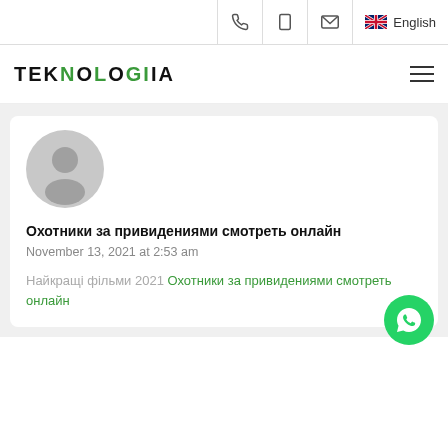Phone | Tablet | Email | English
[Figure (logo): TEKNOLOGIA logo with green double-bar letters, hamburger menu icon on the right]
[Figure (photo): Default user avatar — grey circle with silhouette figure]
Охотники за привидениями смотреть онлайн
November 13, 2021 at 2:53 am
Найкращі фільми 2021 Охотники за привидениями смотреть онлайн